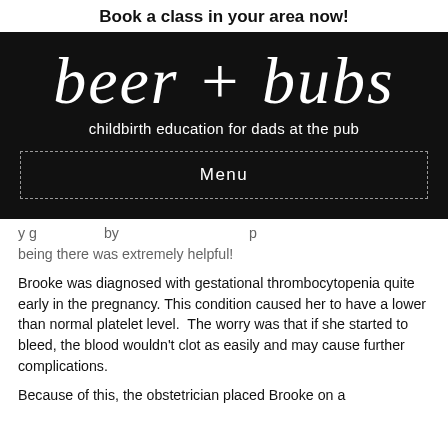Book a class in your area now!
[Figure (logo): Beer + Bubs logo on black background with script text 'beer + bubs' and tagline 'childbirth education for dads at the pub', with a dashed-border Menu button]
...y g...by...p being there was extremely helpful!
Brooke was diagnosed with gestational thrombocytopenia quite early in the pregnancy. This condition caused her to have a lower than normal platelet level. The worry was that if she started to bleed, the blood wouldn't clot as easily and may cause further complications.
Because of this, the obstetrician placed Brooke on a